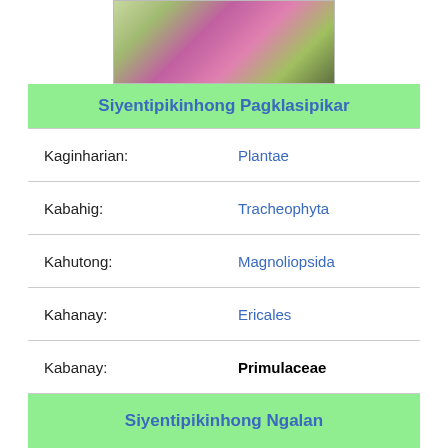[Figure (photo): Close-up photo of a plant with pink flowers, partially visible at top of page]
|  |  |
| --- | --- |
| Siyentipikinhong Pagklasipikar |  |
| Kaginharian: | Plantae |
| Kabahig: | Tracheophyta |
| Kahutong: | Magnoliopsida |
| Kahanay: | Ericales |
| Kabanay: | Primulaceae |
| Siyentipikinhong Ngalan |  |
| Primulaceae |  |
Kabanay sa mga tanom nga bulak ang Primulaceae.[1]